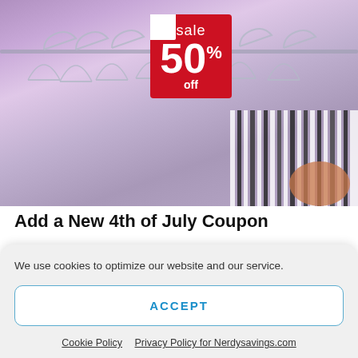[Figure (photo): Retail clothing store photo showing metal and plastic hangers on a rack with a red sale sign reading 'sale 50% off'. A person's hand is browsing striped clothing at the right edge.]
Add a New 4th of July Coupon
Found a great deal or promo code? Share the
We use cookies to optimize our website and our service.
ACCEPT
Cookie Policy   Privacy Policy for Nerdysavings.com